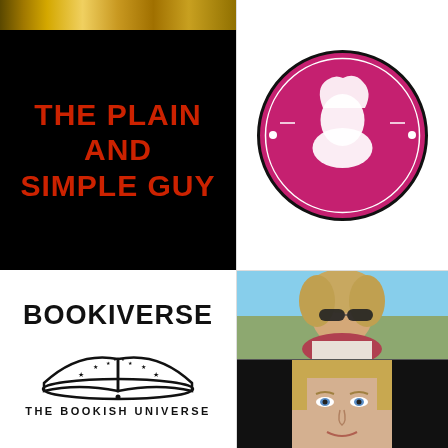[Figure (photo): Partial top strip of a gold/metallic textured surface]
[Figure (illustration): Black background card with red bold uppercase text reading 'THE PLAIN AND SIMPLE GUY']
[Figure (logo): Bookiverse logo: open book with stars and text 'BOOKIVERSE' and 'THE BOOKISH UNIVERSE']
[Figure (logo): BossyBabe circular logo in pink/magenta with silhouette face and text 'BOSSSYBABE' around the border]
[Figure (photo): Woman with short blonde hair wearing dark sunglasses and a red/pink scarf, outdoors with blue sky]
[Figure (photo): Close-up of woman with blonde hair and blue eyes against dark background]